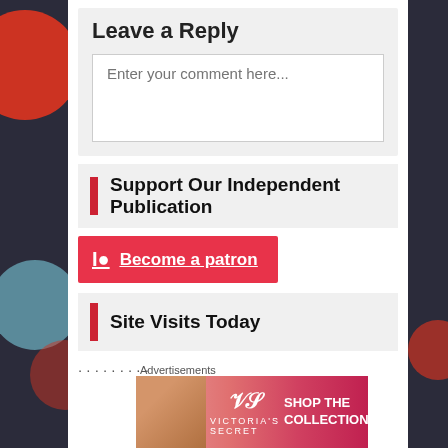Leave a Reply
Enter your comment here...
Support Our Independent Publication
Become a patron
Site Visits Today
Advertisements
[Figure (photo): Victoria's Secret advertisement banner with SHOP THE COLLECTION and SHOP NOW button]